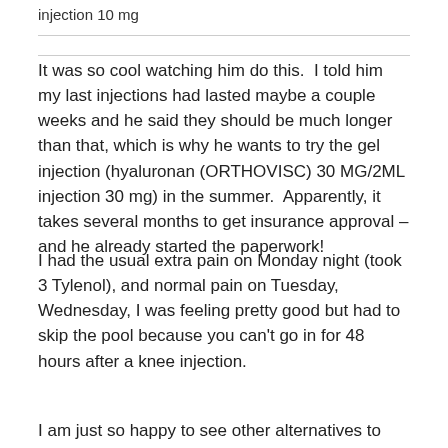injection 10 mg
It was so cool watching him do this.  I told him my last injections had lasted maybe a couple weeks and he said they should be much longer than that, which is why he wants to try the gel injection (hyaluronan (ORTHOVISC) 30 MG/2ML injection 30 mg) in the summer.  Apparently, it takes several months to get insurance approval – and he already started the paperwork!
I had the usual extra pain on Monday night (took 3 Tylenol), and normal pain on Tuesday,  Wednesday, I was feeling pretty good but had to skip the pool because you can't go in for 48 hours after a knee injection.
I am just so happy to see other alternatives to steroids – or